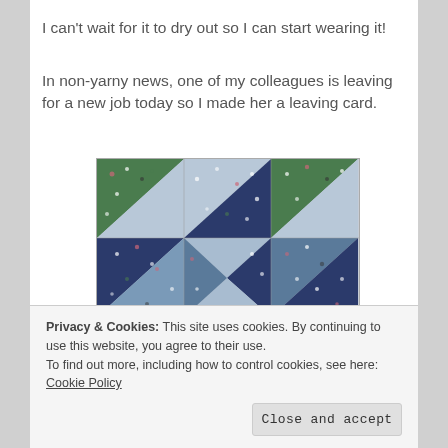I can't wait for it to dry out so I can start wearing it!
In non-yarny news, one of my colleagues is leaving for a new job today so I made her a leaving card.
[Figure (photo): A handmade quilt patchwork card showing a pinwheel pattern made from blue, navy dotted, green dotted, and light blue fabric triangles arranged in a star/pinwheel design.]
Privacy & Cookies: This site uses cookies. By continuing to use this website, you agree to their use.
To find out more, including how to control cookies, see here: Cookie Policy
Close and accept